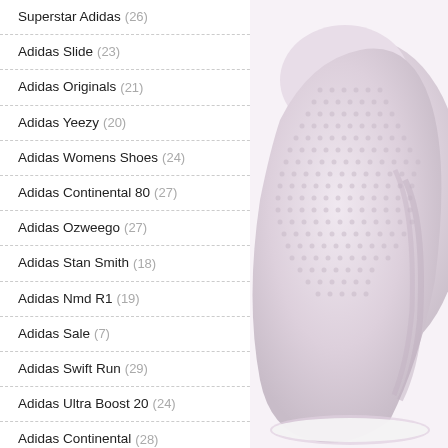Superstar Adidas (26)
Adidas Slide (23)
Adidas Originals (21)
Adidas Yeezy (20)
Adidas Womens Shoes (24)
Adidas Continental 80 (27)
Adidas Ozweego (27)
Adidas Stan Smith (18)
Adidas Nmd R1 (19)
Adidas Sale (7)
Adidas Swift Run (29)
Adidas Ultra Boost 20 (24)
Adidas Continental (28)
Adidas Gazelle (24)
Adidas Kids Shoes (23)
[Figure (photo): Close-up photo of a light pink Adidas sneaker showing mesh texture and heel area]